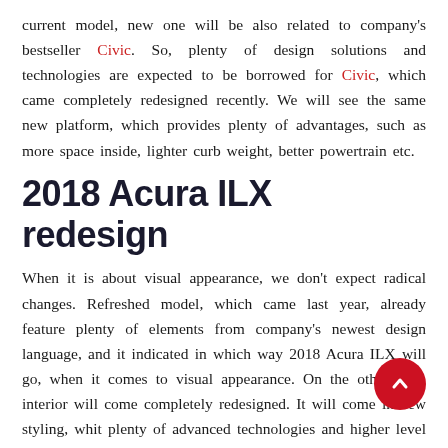current model, new one will be also related to company's bestseller Civic. So, plenty of design solutions and technologies are expected to be borrowed for Civic, which came completely redesigned recently. We will see the same new platform, which provides plenty of advantages, such as more space inside, lighter curb weight, better powertrain etc.
2018 Acura ILX redesign
When it is about visual appearance, we don't expect radical changes. Refreshed model, which came last year, already feature plenty of elements from company's newest design language, and it indicated in which way 2018 Acura ILX will go, when it comes to visual appearance. On the other side, interior will come completely redesigned. It will come in new styling, whit plenty of advanced technologies and higher level of overall comfort.